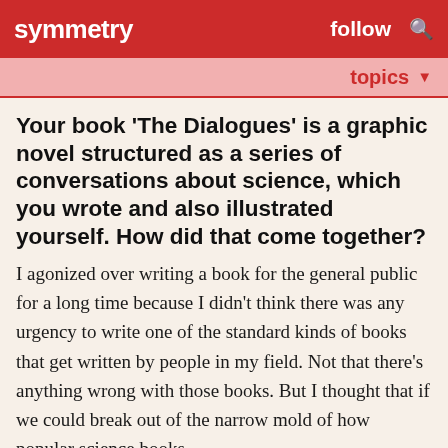symmetry   follow   🔍
topics ▼
Your book 'The Dialogues' is a graphic novel structured as a series of conversations about science, which you wrote and also illustrated yourself. How did that come together?
I agonized over writing a book for the general public for a long time because I didn't think there was any urgency to write one of the standard kinds of books that get written by people in my field. Not that there's anything wrong with those books. But I thought that if we could break out of the narrow mold of how popular science books